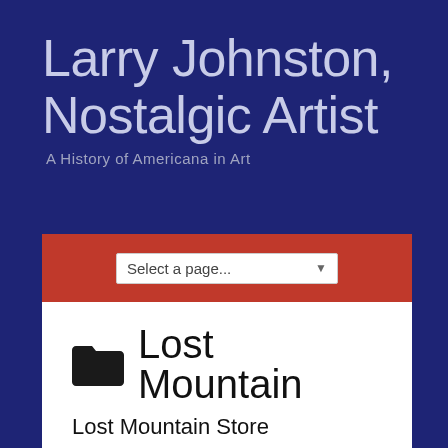Larry Johnston, Nostalgic Artist
A History of Americana in Art
[Figure (screenshot): Red navigation bar with a 'Select a page...' dropdown selector in white]
Lost Mountain
Lost Mountain Store